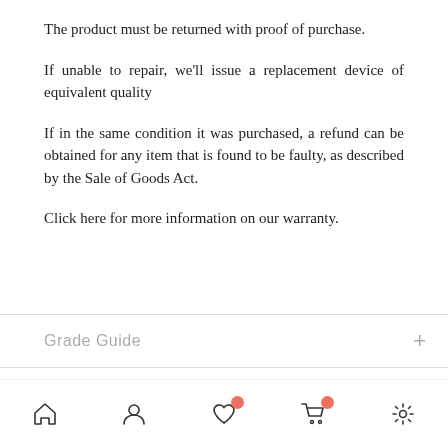The product must be returned with proof of purchase.
If unable to repair, we'll issue a replacement device of equivalent quality
If in the same condition it was purchased, a refund can be obtained for any item that is found to be faulty, as described by the Sale of Goods Act.
Click here for more information on our warranty.
Grade Guide
Grade A –
Grade B – Good
New Condition